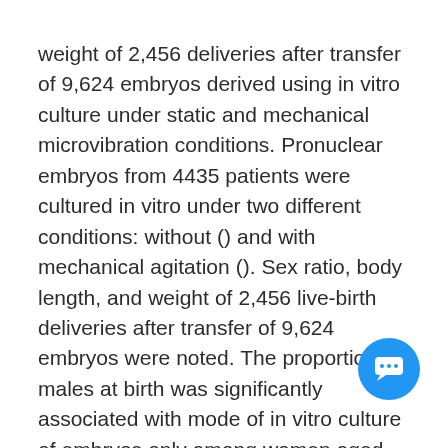weight of 2,456 deliveries after transfer of 9,624 embryos derived using in vitro culture under static and mechanical microvibration conditions. Pronuclear embryos from 4435 patients were cultured in vitro under two different conditions: without () and with mechanical agitation (). Sex ratio, body length, and weight of 2,456 live-birth deliveries after transfer of 9,624 embryos were noted. The proportion of males at birth was significantly associated with mode of in vitro culture of embryos only among women aged 40 years and older. The rate “body length” was significantly associated with mode of in vitro culture of embryos only among women aged 29 and younger. In the same time, among twins, this ratio positively associated in vitro culture of embryos under microvibration among women aged 30−34 years as well as ≥40 years
[Figure (other): Blue circular chat/messaging button overlay in bottom-right corner with speech bubble and ellipsis icon]